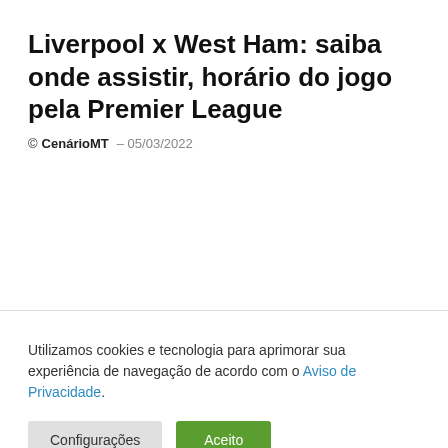Liverpool x West Ham: saiba onde assistir, horário do jogo pela Premier League
© CenárioMT – 05/03/2022
Utilizamos cookies e tecnologia para aprimorar sua experiência de navegação de acordo com o Aviso de Privacidade.